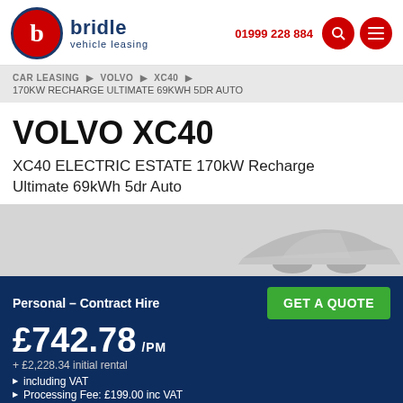[Figure (logo): Bridle Vehicle Leasing logo with red circle containing 'b' and navy blue text]
01999 228 884
CAR LEASING ▶ VOLVO ▶ XC40 ▶ 170KW RECHARGE ULTIMATE 69KWH 5DR AUTO
VOLVO XC40
XC40 ELECTRIC ESTATE 170kW Recharge Ultimate 69kWh 5dr Auto
Personal – Contract Hire
£742.78 /PM
+ £2,228.34 initial rental
including VAT
Processing Fee: £199.00 inc VAT
GET A QUOTE